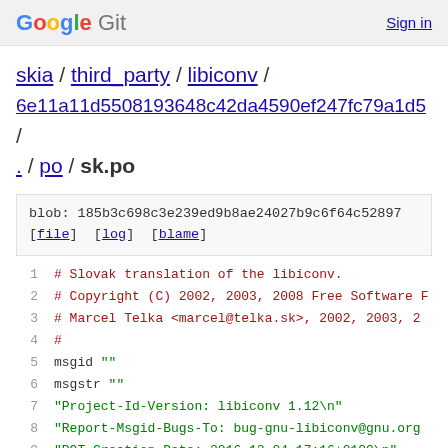Google Git  Sign in
skia / third_party / libiconv / 6e11a11d5508193648c42da4590ef247fc79a1d5 / . / po / sk.po
blob: 185b3c698c3e239ed9b8ae24027b9c6f64c52897
[file] [log] [blame]
1  # Slovak translation of the libiconv.
2  # Copyright (C) 2002, 2003, 2008 Free Software F
3  # Marcel Telka <marcel@telka.sk>, 2002, 2003, 2
4  #
5  msgid ""
6  msgstr ""
7  "Project-Id-Version: libiconv 1.12\n"
8  "Report-Msgid-Bugs-To: bug-gnu-libiconv@gnu.org
9  "POT-Creation-Date: 2016-12-04 17:16+0100\n"
10 "PO-Revision-Date: 2008-01-31 09:14+0100\n"